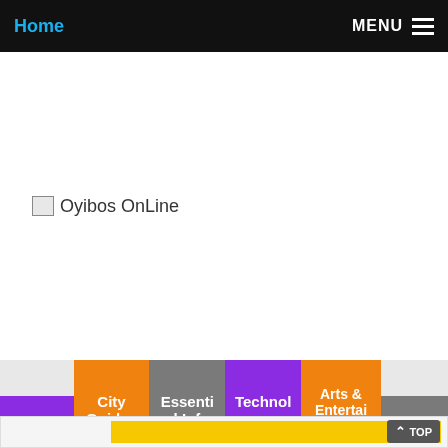Home  MENU
[Figure (logo): Oyibos OnLine logo placeholder image with text 'Oyibos OnLine']
News
City Guides
Essential Info
Technology
Arts & Entertainment
Sports
[Figure (other): Yellow banner/advertisement area at the bottom of the page]
TOP